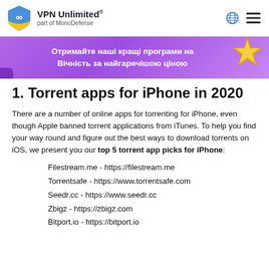VPN Unlimited® part of MonoDefense
[Figure (illustration): Purple promotional banner with text in Ukrainian: Отримайте наші кращі програми на Вічність за найгарячішою ціною, with a gold starfish decoration on the right.]
1. Torrent apps for iPhone in 2020
There are a number of online apps for torrenting for iPhone, even though Apple banned torrent applications from iTunes. To help you find your way round and figure out the best ways to download torrents on iOS, we present you our top 5 torrent app picks for iPhone:
Filestream.me - https://filestream.me
Torrentsafe - https://www.torrentsafe.com
Seedr.cc - https://www.seedr.cc
Zbigz - https://zbigz.com
Bitport.io - https://bitport.io